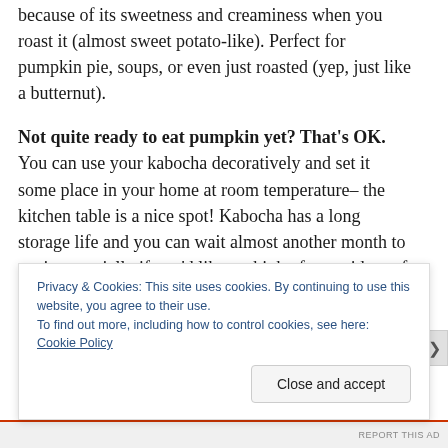because of its sweetness and creaminess when you roast it (almost sweet potato-like). Perfect for pumpkin pie, soups, or even just roasted (yep, just like a butternut).
Not quite ready to eat pumpkin yet? That's OK. You can use your kabocha decoratively and set it some place in your home at room temperature– the kitchen table is a nice spot! Kabocha has a long storage life and you can wait almost another month to eat it, especially if you'd like to think of more ideas of what to do with it.
Just make sure to eat it quickly if it shows spots or its
Privacy & Cookies: This site uses cookies. By continuing to use this website, you agree to their use.
To find out more, including how to control cookies, see here: Cookie Policy
Close and accept